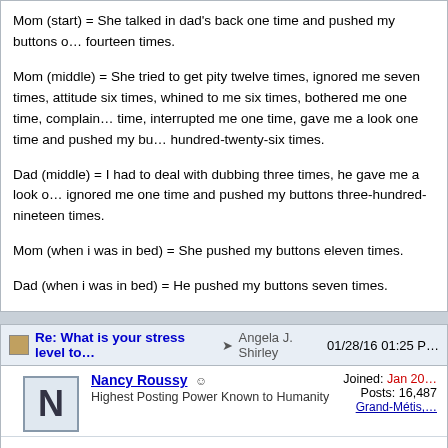Mom (start) = She talked in dad's back one time and pushed my buttons o… fourteen times.
Mom (middle) = She tried to get pity twelve times, ignored me seven times, attitude six times, whined to me six times, bothered me one time, complain… time, interrupted me one time, gave me a look one time and pushed my bu… hundred-twenty-six times.
Dad (middle) = I had to deal with dubbing three times, he gave me a look o… ignored me one time and pushed my buttons three-hundred-nineteen times.
Mom (when i was in bed) = She pushed my buttons eleven times.
Dad (when i was in bed) = He pushed my buttons seven times.
Re: What is your stress level to… → Angela J. Shirley  01/28/16 01:25 P…
Nancy Roussy  ☺
Highest Posting Power Known to Humanity
Joined: Jan 20…  Posts: 16,487  Grand-Métis,…
Yesterday they left while I was sleeping. Mom left me a note on my kitchen… that said that she would be back Saturday and then she finished it with the… dad then put a question mark. She probably did that on purpose to either s…